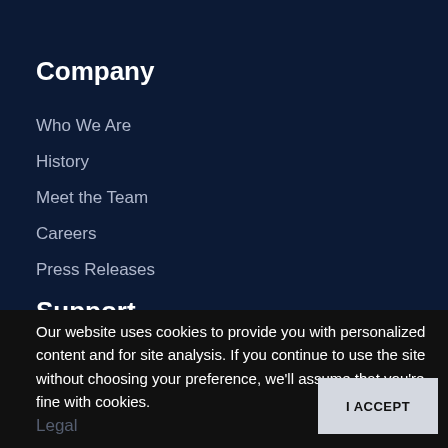Company
Who We Are
History
Meet the Team
Careers
Press Releases
Support
Support Tickets
Wiki and Documentation
Search
Our website uses cookies to provide you with personalized content and for site analysis. If you continue to use the site without choosing your preference, we'll assume that you're fine with cookies.
I ACCEPT
Legal